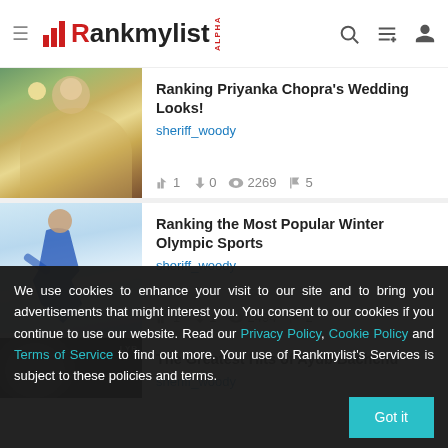Rankmylist ALPHA
Ranking Priyanka Chopra's Wedding Looks! | sheriff_woody | 1 up | 0 down | 2269 views | 5 flags
Ranking the Most Popular Winter Olympic Sports | sheriff_woody | 1 up | 1 down | 2494 views | 2 flags
The Greatest Hits of Ayub Bachchu | sheriff_woody
We use cookies to enhance your visit to our site and to bring you advertisements that might interest you. You consent to our cookies if you continue to use our website. Read our Privacy Policy, Cookie Policy and Terms of Service to find out more. Your use of Rankmylist's Services is subject to these policies and terms.
Got it